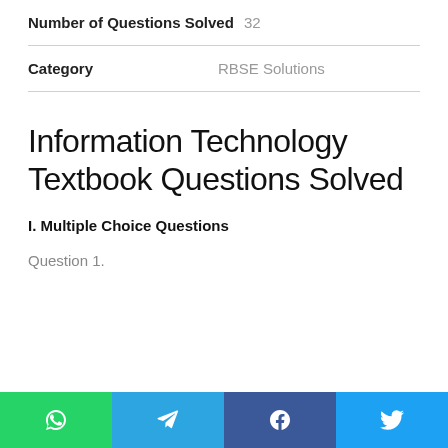| Field | Value |
| --- | --- |
| Number of Questions Solved | 32 |
| Category | RBSE Solutions |
Information Technology Textbook Questions Solved
I. Multiple Choice Questions
Question 1.